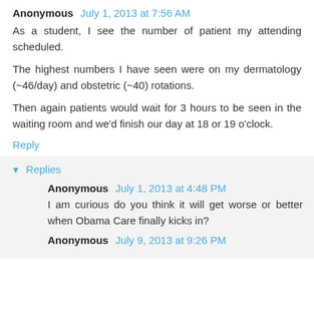Anonymous July 1, 2013 at 7:56 AM
As a student, I see the number of patient my attending scheduled.
The highest numbers I have seen were on my dermatology (~46/day) and obstetric (~40) rotations.
Then again patients would wait for 3 hours to be seen in the waiting room and we'd finish our day at 18 or 19 o'clock.
Reply
Replies
Anonymous July 1, 2013 at 4:48 PM
I am curious do you think it will get worse or better when Obama Care finally kicks in?
Anonymous July 9, 2013 at 9:26 PM